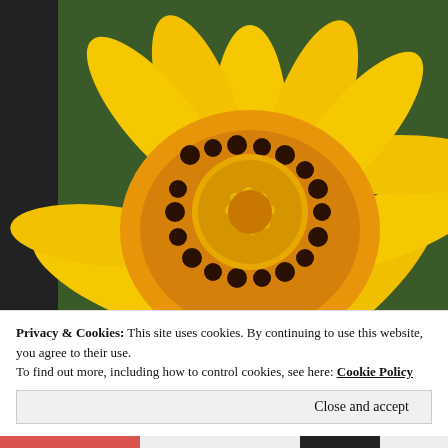[Figure (photo): Close-up macro photograph of a yellow gazania flower with orange center disc and dark brown spots at the base of the petals. The background shows dark green foliage.]
Privacy & Cookies: This site uses cookies. By continuing to use this website, you agree to their use.
To find out more, including how to control cookies, see here: Cookie Policy
Close and accept